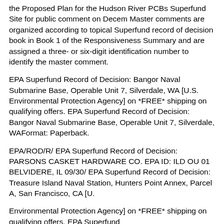the Proposed Plan for the Hudson River PCBs Superfund Site for public comment on Decem Master comments are organized according to topical Superfund record of decision book in Book 1 of the Responsiveness Summary and are assigned a three- or six-digit identification number to identify the master comment.
EPA Superfund Record of Decision: Bangor Naval Submarine Base, Operable Unit 7, Silverdale, WA [U.S. Environmental Protection Agency] on *FREE* shipping on qualifying offers. EPA Superfund Record of Decision: Bangor Naval Submarine Base, Operable Unit 7, Silverdale, WAFormat: Paperback.
EPA/ROD/R/ EPA Superfund Record of Decision: PARSONS CASKET HARDWARE CO. EPA ID: ILD OU 01 BELVIDERE, IL 09/30/ EPA Superfund Record of Decision: Treasure Island Naval Station, Hunters Point Annex, Parcel A, San Francisco, CA [U.
Environmental Protection Agency] on *FREE* shipping on qualifying offers. EPA Superfund